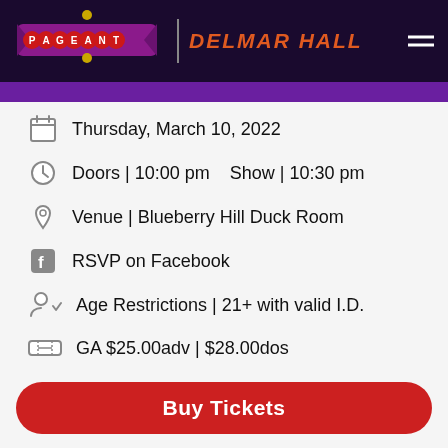[Figure (logo): The Pageant and Delmar Hall header logo with navigation hamburger menu on dark navy background]
Thursday, March 10, 2022
Doors | 10:00 pm   Show | 10:30 pm
Venue | Blueberry Hill Duck Room
RSVP on Facebook
Age Restrictions | 21+ with valid I.D.
GA $25.00adv | $28.00dos
Buy Tickets